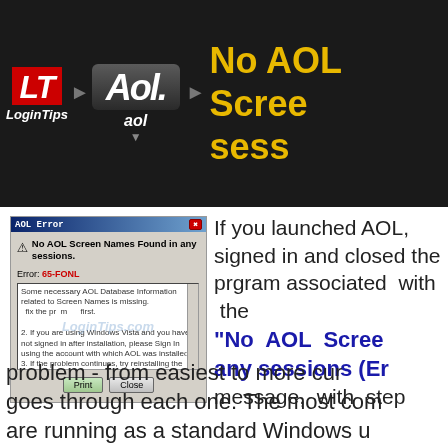No AOL Screen Names Found in any sessions
[Figure (screenshot): AOL Error dialog box showing 'No AOL Screen Names Found in any sessions.' with Error: 65-FONL, a text area with troubleshooting steps, and Print/Close buttons. LoginTips.com watermark visible.]
If you launched AOL, signed in and closed the program associated with the "No AOL Screen Names Found in any sessions (Error...)" message, with steps to fix the problem - from easiest to more cumbersome - and goes through each one. The most common cause is you are running as a standard Windows user, so the AOL Desktop won't have high enough permissions to read account info. (doesn't happen when the...